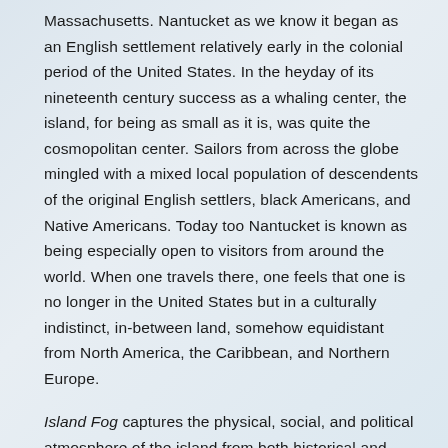Massachusetts. Nantucket as we know it began as an English settlement relatively early in the colonial period of the United States. In the heyday of its nineteenth century success as a whaling center, the island, for being as small as it is, was quite the cosmopolitan center. Sailors from across the globe mingled with a mixed local population of descendents of the original English settlers, black Americans, and Native Americans. Today too Nantucket is known as being especially open to visitors from around the world. When one travels there, one feels that one is no longer in the United States but in a culturally indistinct, in-between land, somehow equidistant from North America, the Caribbean, and Northern Europe.
Island Fog captures the physical, social, and political atmosphere of the island from both historical and contemporary perspectives. It is divided into two halves, with the first half containing five historical fictions and the latter